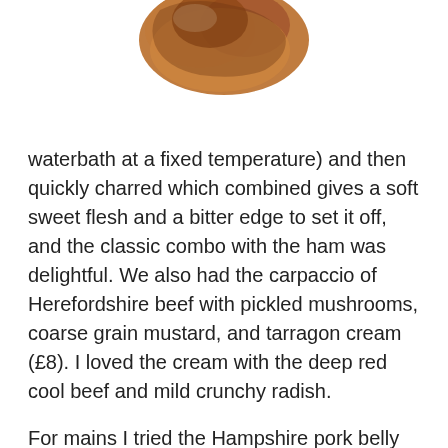[Figure (photo): Partial photo of a piece of food (meat/charred item) visible at the top of the page, cropped]
waterbath at a fixed temperature) and then quickly charred which combined gives a soft sweet flesh and a bitter edge to set it off, and the classic combo with the ham was delightful. We also had the carpaccio of Herefordshire beef with pickled mushrooms, coarse grain mustard, and tarragon cream (£8). I loved the cream with the deep red cool beef and mild crunchy radish.
For mains I tried the Hampshire pork belly cooked in Chinese spices with grilled pak choi, sesame seed glaze, and nutty egg noodles, which was a good filling feed (£12). The golden crackling and porky flesh was perfumed with aniseed and other spices, and topped with sesame, a good...